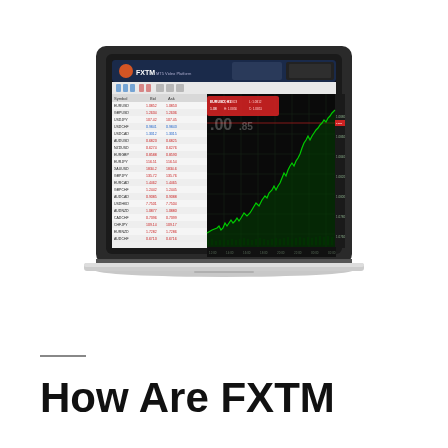[Figure (screenshot): A MacBook laptop displaying the FXTM MT5 trading platform with a green candlestick/line chart trending upward and a currency pairs panel on the left side.]
How Are FXTM